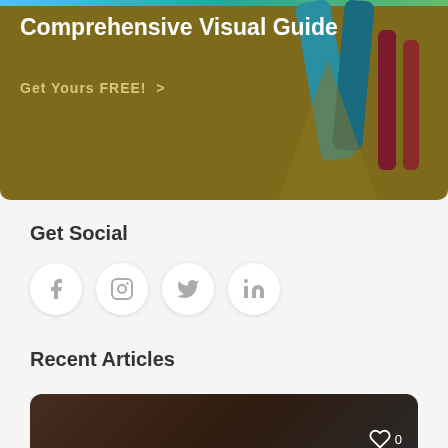[Figure (illustration): Banner with decorative illustrated legs on a dark olive/gold background, with a gradient color bar at the top. White title text 'Comprehensive Visual Guide' and gold subtitle 'Get Yours FREE! >']
Comprehensive Visual Guide
Get Yours FREE!  >
Get Social
[Figure (infographic): Row of four circular social media icon buttons: Facebook, Instagram, Twitter, LinkedIn]
Recent Articles
[Figure (photo): Article card with dark overlay showing title '6 Ways Seniors Can Age Safe® and Live Well' with a heart/like icon showing 0]
[Figure (photo): Article card with dark overlay showing title 'Let’s Talk About Medical Alertness' with a heart/like icon showing 0]